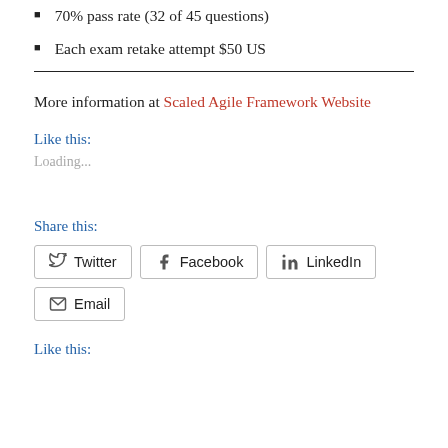70% pass rate (32 of 45 questions)
Each exam retake attempt $50 US
More information at Scaled Agile Framework Website
Like this:
Loading...
Share this:
Twitter  Facebook  LinkedIn  Email
Like this: